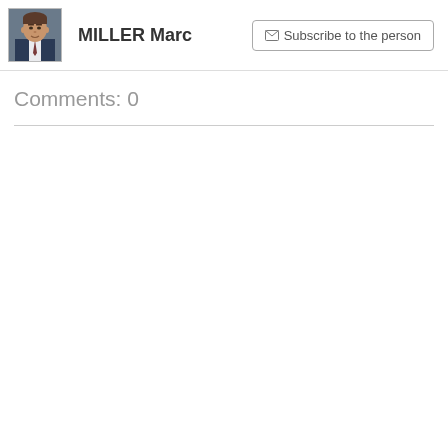[Figure (photo): Headshot photo of Marc Miller, a man in a suit and tie]
MILLER Marc
Subscribe to the person
Comments: 0